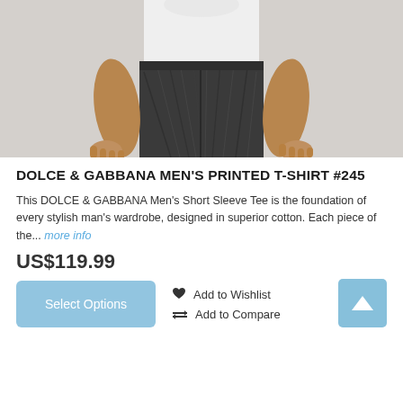[Figure (photo): Mannequin wearing dark gray/charcoal slim-fit jeans and a white t-shirt, cropped to show torso and hands]
DOLCE & GABBANA MEN'S PRINTED T-SHIRT #245
This DOLCE & GABBANA Men's Short Sleeve Tee is the foundation of every stylish man's wardrobe, designed in superior cotton. Each piece of the... more info
US$119.99
Select Options
Add to Wishlist
Add to Compare